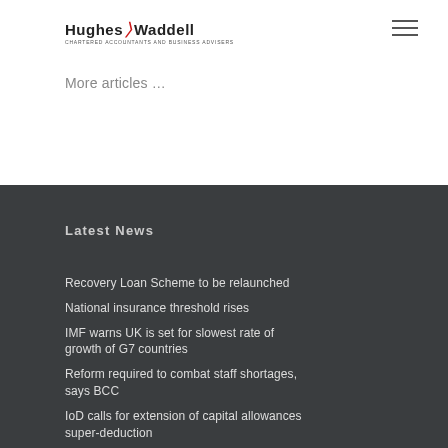[Figure (logo): Hughes Waddell Chartered Accountants and Business Advisers logo with red slash graphic]
More articles …
Latest News
Recovery Loan Scheme to be relaunched
National insurance threshold rises
IMF warns UK is set for slowest rate of growth of G7 countries
Reform required to combat staff shortages, says BCC
IoD calls for extension of capital allowances super-deduction